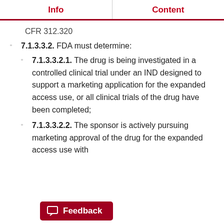Info | Content
CFR 312.320
7.1.3.3.2. FDA must determine:
7.1.3.3.2.1. The drug is being investigated in a controlled clinical trial under an IND designed to support a marketing application for the expanded access use, or all clinical trials of the drug have been completed;
7.1.3.3.2.2. The sponsor is actively pursuing marketing approval of the drug for the expanded access use with